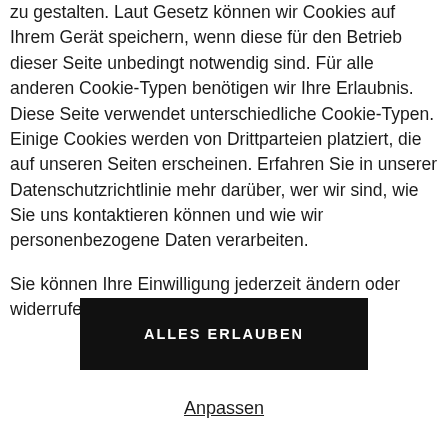zu gestalten. Laut Gesetz können wir Cookies auf Ihrem Gerät speichern, wenn diese für den Betrieb dieser Seite unbedingt notwendig sind. Für alle anderen Cookie-Typen benötigen wir Ihre Erlaubnis. Diese Seite verwendet unterschiedliche Cookie-Typen. Einige Cookies werden von Drittparteien platziert, die auf unseren Seiten erscheinen. Erfahren Sie in unserer Datenschutzrichtlinie mehr darüber, wer wir sind, wie Sie uns kontaktieren können und wie wir personenbezogene Daten verarbeiten.
Sie können Ihre Einwilligung jederzeit ändern oder widerrufen.
ALLES ERLAUBEN
Anpassen